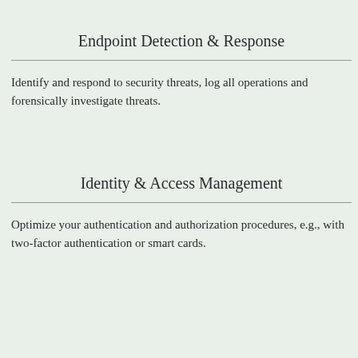Endpoint Detection & Response
Identify and respond to security threats, log all operations and forensically investigate threats.
Identity & Access Management
Optimize your authentication and authorization procedures, e.g., with two-factor authentication or smart cards.